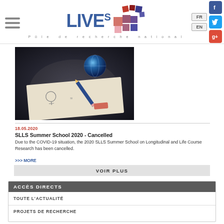LIVES - Pôle de recherche national — FR / EN
[Figure (photo): Photo of a globe, pencil and eraser on a white paper sheet on a dark background]
18.05.2020
SLLS Summer School 2020 - Cancelled
Due to the COVID-19 situation, the 2020 SLLS Summer School on Longitudinal and Life Course Research has been cancelled.
>>> MORE
VOIR PLUS
ACCÈS DIRECTS
TOUTE L'ACTUALITÉ
PROJETS DE RECHERCHE